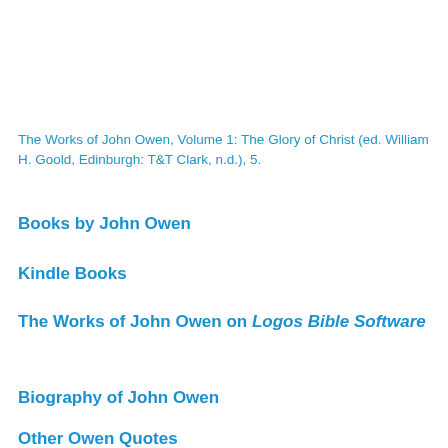The Works of John Owen, Volume 1: The Glory of Christ (ed. William H. Goold, Edinburgh: T&T Clark, n.d.), 5.
Books by John Owen
Kindle Books
The Works of John Owen on Logos Bible Software
Biography of John Owen
Other Owen Quotes